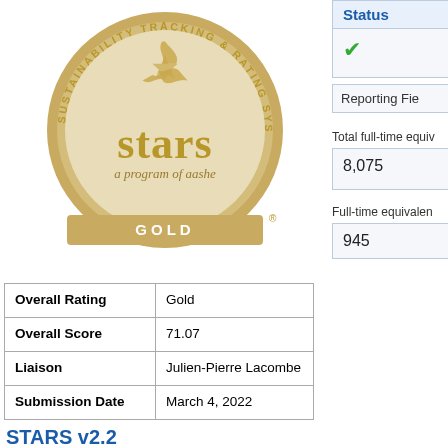[Figure (logo): STARS Gold medal — Sustainability Tracking & Rating System, a program of aashe, GOLD]
| Overall Rating | Gold |
| Overall Score | 71.07 |
| Liaison | Julien-Pierre Lacombe |
| Submission Date | March 4, 2022 |
STARS v2.2
Status
✓
Reporting Fie
Total full-time equiv
8,075
Full-time equivalent
945